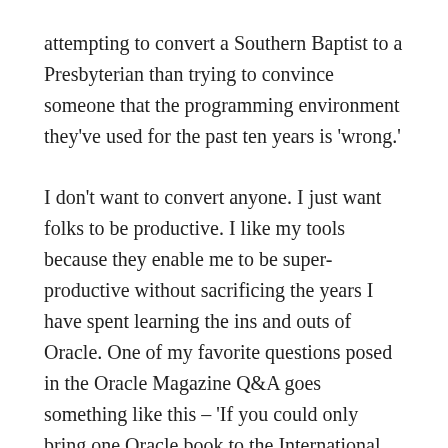attempting to convert a Southern Baptist to a Presbyterian than trying to convince someone that the programming environment they've used for the past ten years is 'wrong.'
I don't want to convert anyone. I just want folks to be productive. I like my tools because they enable me to be super-productive without sacrificing the years I have spent learning the ins and outs of Oracle. One of my favorite questions posed in the Oracle Magazine Q&A goes something like this – 'If you could only bring one Oracle book to the International Space Station, what book would it be?' Imagine instead of 'book' they were asking about tools. If you have to think more than a few seconds on this one, I doubt you're not a true